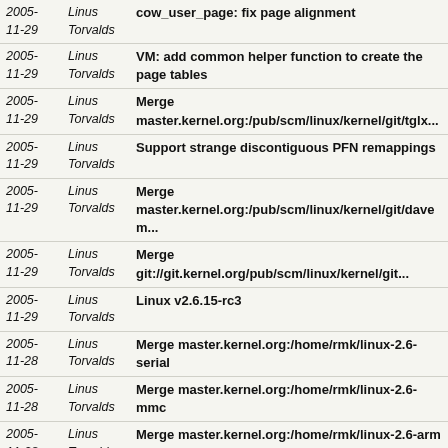| Date | Author | Commit |
| --- | --- | --- |
| 2005-
11-29 | Linus
Torvalds | cow_user_page: fix page alignment |
| 2005-
11-29 | Linus
Torvalds | VM: add common helper function to create the page tables |
| 2005-
11-29 | Linus
Torvalds | Merge master.kernel.org:/pub/scm/linux/kernel/git/tglx... |
| 2005-
11-29 | Linus
Torvalds | Support strange discontiguous PFN remappings |
| 2005-
11-29 | Linus
Torvalds | Merge master.kernel.org:/pub/scm/linux/kernel/git/davem... |
| 2005-
11-29 | Linus
Torvalds | Merge git://git.kernel.org/pub/scm/linux/kernel/git... |
| 2005-
11-29 | Linus
Torvalds | Linux v2.6.15-rc3 |
| 2005-
11-28 | Linus
Torvalds | Merge master.kernel.org:/home/rmk/linux-2.6-serial |
| 2005-
11-28 | Linus
Torvalds | Merge master.kernel.org:/home/rmk/linux-2.6-mmc |
| 2005-
11-28 | Linus
Torvalds | Merge master.kernel.org:/home/rmk/linux-2.6-arm |
| 2005-
11-28 | Linus
Torvalds | mm: re-architect the VM_UNPAGED logic |
| 2005-
11-26 | Linus
Torvalds | Merge branch 'drm-linus' of master.kernel.org:/pub... |
| 2005-
11-25 | Linus
Torvalds | Merge git://git.kernel.org/pub/scm/linux/kernel/git... |